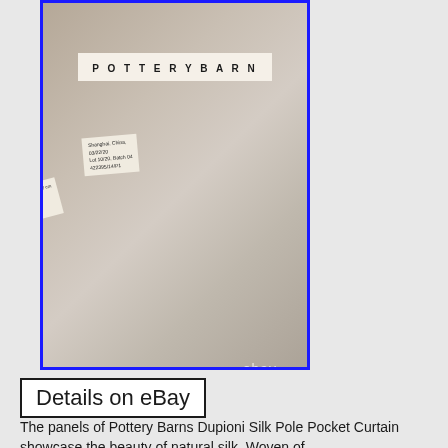[Figure (photo): Close-up photo of Pottery Barn product labels attached to fabric. The main label reads 'POTTERYBARN' in spaced capital letters. Secondary labels show manufacturing details including 'Shanghai, China', date '03/22/20', Lot and Batch information, and a product code '422395/14/P1'. An eBay watermark appears in the lower right.]
Details on eBay
The panels of Pottery Barns Dupioni Silk Pole Pocket Curtain showcase the beauty of natural silk. Woven of